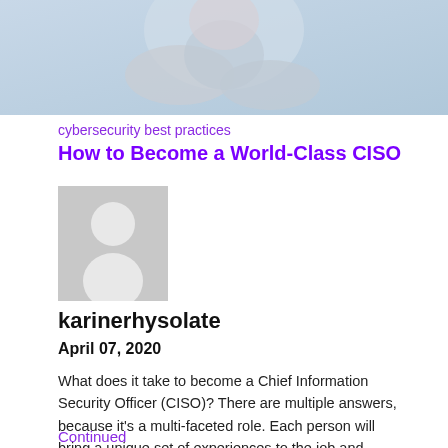[Figure (photo): Hero image showing a person with hands near face, blurred background in light blue tones]
cybersecurity best practices
How to Become a World-Class CISO
[Figure (illustration): Grey placeholder avatar icon with person silhouette]
karinerhysolate
April 07, 2020
What does it take to become a Chief Information Security Officer (CISO)? There are multiple answers, because it's a multi-faceted role. Each person will bring a unique set of experiences to the job and there's no clear-cut path or resume that defines the steps you must take to become a CISO. Yet, there are some …
Continued